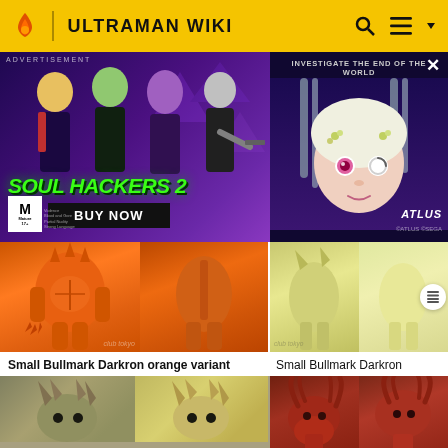ULTRAMAN WIKI
[Figure (screenshot): Advertisement banner for Soul Hackers 2 game by Atlus - shows anime characters, green glowing text 'SOUL HACKERS 2', BUY NOW button, and an anime girl face on the right side, with M rating]
[Figure (photo): Small Bullmark Darkron orange variant toy figure shown from back and front view, orange colored monster figure with club tokyo watermark]
Small Bullmark Darkron orange variant
[Figure (photo): Small Bullmark Darkron figure in yellow-green color variant, two views shown, club tokyo watermark]
[Figure (photo): Small Bullmark Darkron figure in yellow/cream color with two views, club tokyo watermark]
Small Bullmark Darkron
[Figure (photo): Small Bullmark Darkron red/brown variant figure with horns, two views shown]